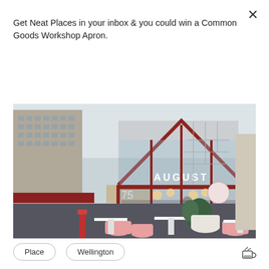Get Neat Places in your inbox & you could win a Common Goods Workshop Apron.
×
Subscribe
[Figure (photo): Exterior of August café at 75, a glass-fronted building with a triangular red steel frame, pink outdoor seating, large planters, and a sign reading 'AUGUST'. Adjacent to taller city buildings in Wellington.]
Place
Wellington